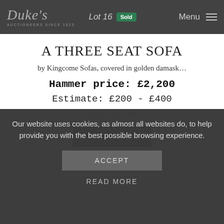Duke's Auctioneers Since 1823 — Lot 16 Sold — Menu
A THREE SEAT SOFA
by Kingcome Sofas, covered in golden damask…
Hammer price: £2,200
Estimate: £200 - £400
9 September 2021
View
Our website uses cookies, as almost all websites do, to help provide you with the best possible browsing experience.
ACCEPT
READ MORE